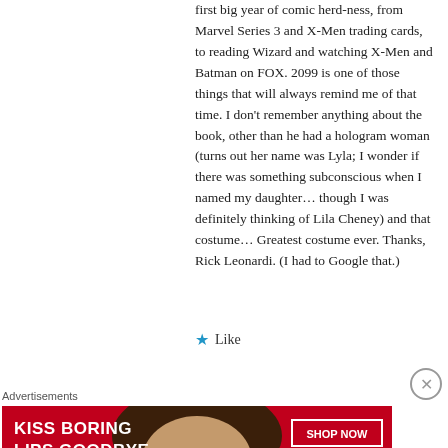first big year of comic herd-ness, from Marvel Series 3 and X-Men trading cards, to reading Wizard and watching X-Men and Batman on FOX. 2099 is one of those things that will always remind me of that time. I don't remember anything about the book, other than he had a hologram woman (turns out her name was Lyla; I wonder if there was something subconscious when I named my daughter… though I was definitely thinking of Lila Cheney) and that costume… Greatest costume ever. Thanks, Rick Leonardi. (I had to Google that.)
★ Like
Advertisements
[Figure (infographic): Advertisement banner for Macy's with red background, woman's face with red lips, text reading 'KISS BORING LIPS GOODBYE', 'SHOP NOW' button, and Macy's star logo]